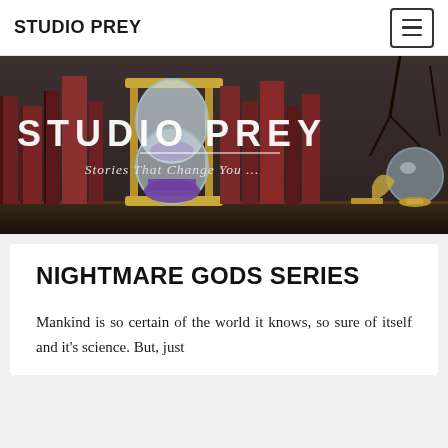STUDIO PREY
[Figure (illustration): Studio Prey banner image showing a dark wooden bookshelf with antique red-brown books, a large hourglass with purple sand, a white crystalline tower/rocket sculpture, a crystal ball, and golden decorative objects. White text overlay reads 'STUDIO PREY' and below it 'Stories That Change You ...']
NIGHTMARE GODS SERIES
Mankind is so certain of the world it knows, so sure of itself and it's science. But, just